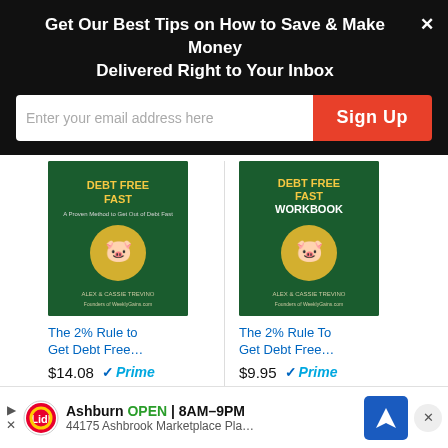Get Our Best Tips on How to Save & Make Money Delivered Right to Your Inbox
[Figure (screenshot): Email sign-up form with text input 'Enter your email address here' and red 'Sign Up' button]
[Figure (other): Amazon product listing: Book cover 'Debt Free Fast' with price $14.08 and Prime badge, Shop now button]
[Figure (other): Amazon product listing: Book cover 'Debt Free Fast Workbook' with price $9.95 and Prime badge, Shop now button]
The 2% Rule to Get Debt Free...
$14.08
The 2% Rule To Get Debt Free...
$9.95
Looking for Inspiration?
[Figure (infographic): Lidl store ad: Ashburn OPEN 8AM-9PM, 44175 Ashbrook Marketplace Pla... with map navigation button]